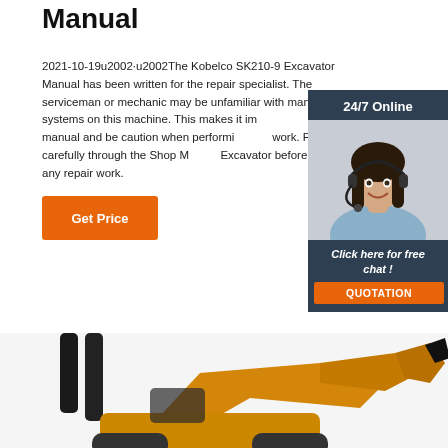Manual
2021-10-19u2002·u2002The Kobelco SK210-9 Excavator Manual has been written for the repair specialist. The serviceman or mechanic may be unfamiliar with many of the systems on this machine. This makes it important to use this manual and be caution when performing any work. Please go carefully through the Shop Manual Excavator before starting any repair work.
[Figure (other): Orange 'Get Price' button]
[Figure (photo): Sidebar widget with a woman wearing a headset, '24/7 Online' label, 'Click here for free chat!' text, and orange QUOTATION button on dark blue background]
[Figure (photo): Bottom portion of the page showing excavator machinery parts in black and yellow/orange colors]